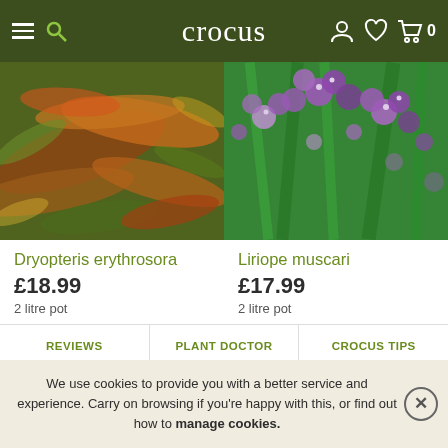crocus
[Figure (photo): Photo of Dryopteris erythrosora fern with red-orange and green fronds]
[Figure (photo): Photo of Liriope muscari with purple flower spikes and green strap leaves]
Dryopteris erythrosora
£18.99
2 litre pot
Liriope muscari
£17.99
2 litre pot
REVIEWS
PLANT DOCTOR
CROCUS TIPS
We use cookies to provide you with a better service and experience. Carry on browsing if you're happy with this, or find out how to manage cookies.